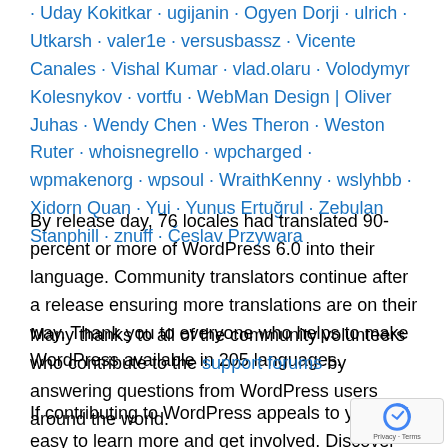· Uday Kokitkar · ugijanin · Ogyen Dorji · ulrich · Utkarsh · valer1e · versusbassz · Vicente Canales · Vishal Kumar · vlad.olaru · Volodymyr Kolesnykov · vortfu · WebMan Design | Oliver Juhas · Wendy Chen · Wes Theron · Weston Ruter · whoisnegrello · wpcharged · wpmakenorg · wpsoul · WraithKenny · wslyhbb · Xidorn Quan · Yui · Yunus Ertuğrul · Zebulan Stanphill · znuff · Česlav Przywara
By release day, 76 locales had translated 90-percent or more of WordPress 6.0 into their language. Community translators continue after a release ensuring more translations are on their way. Thank you to everyone who helps to make WordPress available in 205 languages.
Many thanks to all of the community volunteers who contribute to the support forums by answering questions from WordPress users around the world.
If contributing to WordPress appeals to you, it's easy to learn more and get involved. Discover the different teams